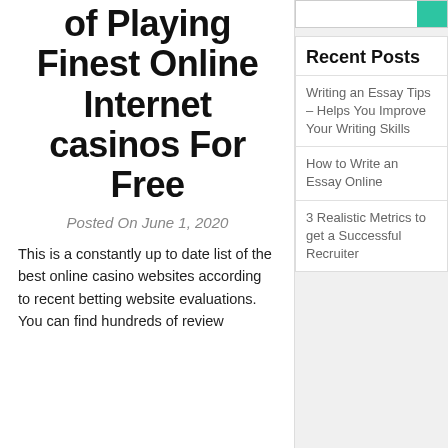of Playing Finest Online Internet casinos For Free
Posted On June 1, 2020
This is a constantly up to date list of the best online casino websites according to recent betting website evaluations. You can find hundreds of review
Recent Posts
Writing an Essay Tips – Helps You Improve Your Writing Skills
How to Write an Essay Online
3 Realistic Metrics to get a Successful Recruiter